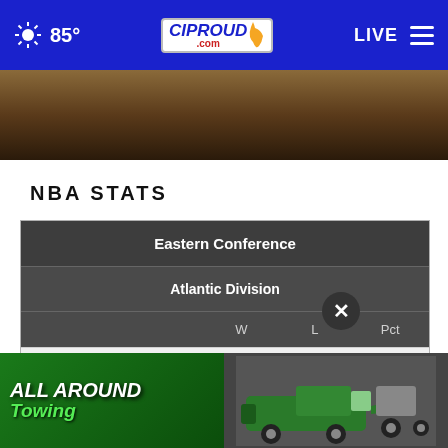85° CI PROUD .com LIVE
[Figure (photo): Partial photo strip showing a brown/dark image, appears to be a close-up of an object]
NBA STATS
|  | W | L | Pct |
| --- | --- | --- | --- |
| Eastern Conference |  |  |  |
| Atlantic Division |  |  |  |
| xy-Boston | 51 | 31 | .622 |
| x-Philadelphia | 51 | 31 | .622 |
| x-Toronto |  |  |  |
[Figure (photo): All Around Towing advertisement banner with green tow truck]